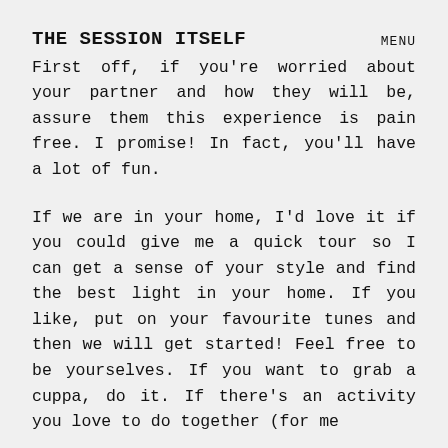THE SESSION ITSELF
First off, if you're worried about your partner and how they will be, assure them this experience is pain free. I promise! In fact, you'll have a lot of fun.
If we are in your home, I'd love it if you could give me a quick tour so I can get a sense of your style and find the best light in your home. If you like, put on your favourite tunes and then we will get started! Feel free to be yourselves. If you want to grab a cuppa, do it. If there's an activity you love to do together (for me